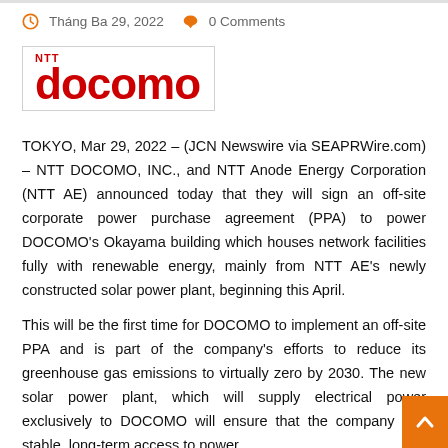Tháng Ba 29, 2022   0 Comments
[Figure (logo): NTT DOCOMO logo in red with 'NTT' above 'docomo' in large bold red letters, inside a light bordered box]
TOKYO, Mar 29, 2022 – (JCN Newswire via SEAPRWire.com) – NTT DOCOMO, INC., and NTT Anode Energy Corporation (NTT AE) announced today that they will sign an off-site corporate power purchase agreement (PPA) to power DOCOMO's Okayama building which houses network facilities fully with renewable energy, mainly from NTT AE's newly constructed solar power plant, beginning this April.
This will be the first time for DOCOMO to implement an off-site PPA and is part of the company's efforts to reduce its greenhouse gas emissions to virtually zero by 2030. The new solar power plant, which will supply electrical power exclusively to DOCOMO will ensure that the company has stable, long-term access to power